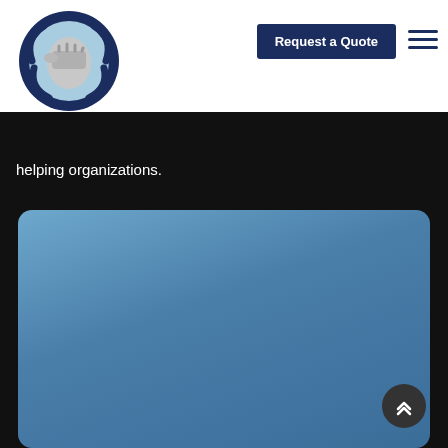[Figure (logo): Circular logo with a fist holding a wrench, dark navy blue ring around a light blue circular background]
Request a Quote
helping organizations.
[Figure (illustration): Blue gradient card/section on dark background with a scroll-to-top chevron button]